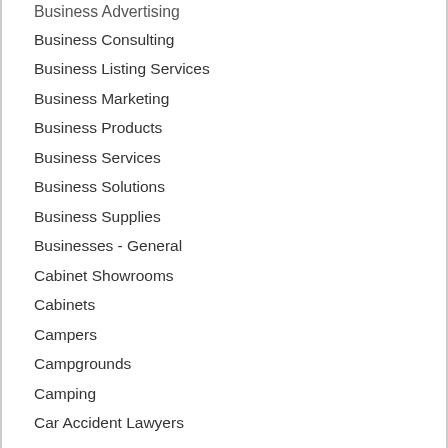Business Advertising
Business Consulting
Business Listing Services
Business Marketing
Business Products
Business Services
Business Solutions
Business Supplies
Businesses - General
Cabinet Showrooms
Cabinets
Campers
Campgrounds
Camping
Car Accident Lawyers
Car Dealers